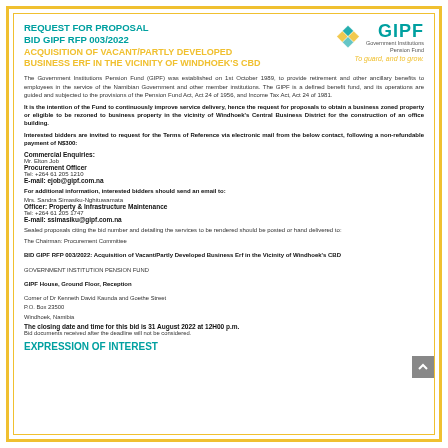REQUEST FOR PROPOSAL
BID GIPF RFP 003/2022
ACQUISITION OF VACANT/PARTLY DEVELOPED BUSINESS ERF IN THE VICINITY OF WINDHOEK'S CBD
[Figure (logo): GIPF Government Institutions Pension Fund logo with geometric diamond pattern and tagline 'To guard, and to grow.']
The Government Institutions Pension Fund (GIPF) was established on 1st October 1989, to provide retirement and other ancillary benefits to employees in the service of the Namibian Government and other member institutions. The GIPF is a defined benefit fund, and its operations are guided and subjected to the provisions of the Pension Fund Act, Act 24 of 1956, and Income Tax Act, Act 24 of 1981.
It is the intention of the Fund to continuously improve service delivery, hence the request for proposals to obtain a business zoned property or eligible to be rezoned to business property in the vicinity of Windhoek's Central Business District for the construction of an office building.
Interested bidders are invited to request for the Terms of Reference via electronic mail from the below contact, following a non-refundable payment of N$300:
Commercial Enquiries:
Mr. Elton Job
Procurement Officer
Tel: +264 61 205 1210
E-mail: ejob@gipf.com.na
For additional information, interested bidders should send an email to:
Mrs. Sandra Simasiku-Nghituwamata
Officer: Property & Infrastructure Maintenance
Tel: +264 61 205 1747
E-mail: ssimasiku@gipf.com.na
Sealed proposals citing the bid number and detailing the services to be rendered should be posted or hand delivered to:
The Chairman: Procurement Committee
BID GIPF RFP 003/2022: Acquisition of Vacant/Partly Developed Business Erf in the Vicinity of Windhoek's CBD
GOVERNMENT INSTITUTION PENSION FUND
GIPF House, Ground Floor, Reception
Corner of Dr Kenneth David Kaunda and Goethe Street
P.O. Box 23500
Windhoek, Namibia
The closing date and time for this bid is 31 August 2022 at 12H00 p.m.
Bid documents received after the deadline will not be considered.
EXPRESSION OF INTEREST